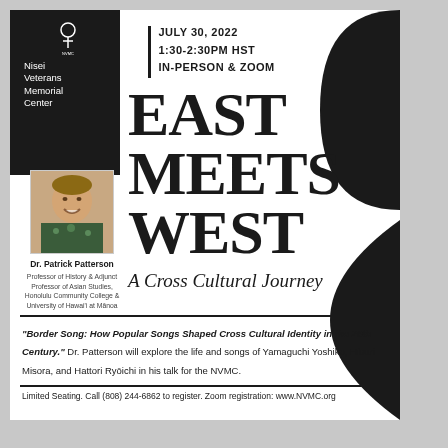Nisei Veterans Memorial Center
JULY 30, 2022 | 1:30-2:30PM HST | IN-PERSON & ZOOM
EAST MEETS WEST
A Cross Cultural Journey
[Figure (photo): Headshot photo of Dr. Patrick Patterson smiling, wearing a floral shirt]
Dr. Patrick Patterson
Professor of History & Adjunct Professor of Asian Studies, Honolulu Community College & University of Hawai'i at Mānoa
"Border Song: How Popular Songs Shaped Cross Cultural Identity in the 20th Century." Dr. Patterson will explore the life and songs of Yamaguchi Yoshiko, Hibari Misora, and Hattori Ryōichi in his talk for the NVMC.
Limited Seating. Call (808) 244-6862 to register. Zoom registration: www.NVMC.org